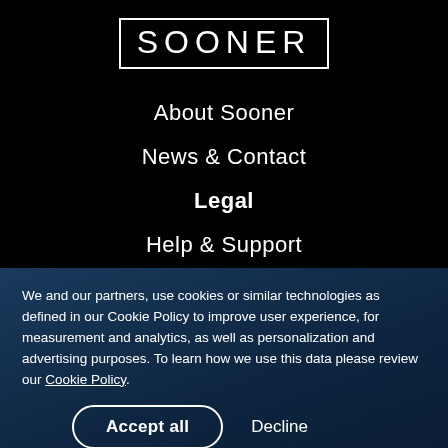SOONER
About Sooner
News & Contact
Legal
Help & Support
FAQ
We and our partners, use cookies or similar technologies as defined in our Cookie Policy to improve user experience, for measurement and analytics, as well as personalization and advertising purposes. To learn how we use this data please review our Cookie Policy.
Accept all
Decline